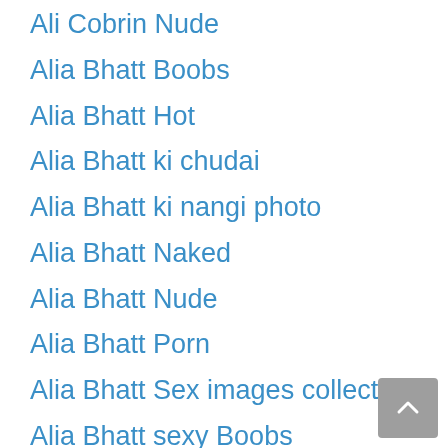Ali Cobrin Nude
Alia Bhatt Boobs
Alia Bhatt Hot
Alia Bhatt ki chudai
Alia Bhatt ki nangi photo
Alia Bhatt Naked
Alia Bhatt Nude
Alia Bhatt Porn
Alia Bhatt Sex images collection
Alia Bhatt sexy Boobs
Alia Bhatt Sexy Video
Alia Bhatt Xnxx
Alia Bhatt Xvideo
Alia Bhatt xxx